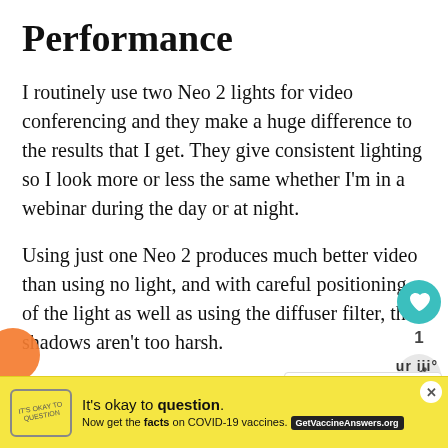Performance
I routinely use two Neo 2 lights for video conferencing and they make a huge difference to the results that I get. They give consistent lighting so I look more or less the same whether I'm in a webinar during the day or at night.
Using just one Neo 2 produces much better video than using no light, and with careful positioning of the light as well as using the diffuser filter, the shadows aren't too harsh.
Of course, the results vary enormously depending upon your situation. However, if you ever struggle to get a decent look in a
[Figure (infographic): Social sidebar with heart/like button showing teal heart icon and count of 1, plus share button]
[Figure (infographic): What's Next widget with thumbnail photo and text 'Rotolight releases...']
[Figure (infographic): Ad banner: yellow background, 'It's okay to question. Now get the facts on COVID-19 vaccines. GetVaccineAnswers.org' with close button]